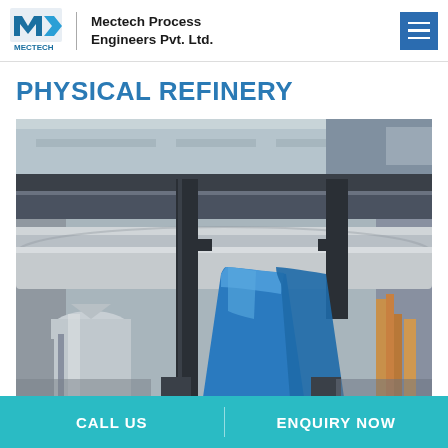Mectech Process Engineers Pvt. Ltd.
PHYSICAL REFINERY
[Figure (photo): Industrial physical refinery equipment showing metal pipes, stainless steel vessels, and a large blue conical/cylindrical component, with structural steel beams overhead]
CALL US   ENQUIRY NOW